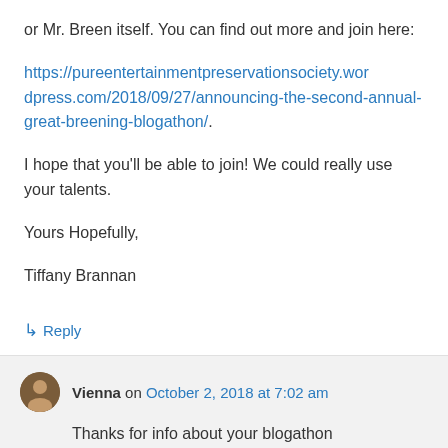or Mr. Breen itself. You can find out more and join here:
https://pureentertainmentpreservationsociety.wordpress.com/2018/09/27/announcing-the-second-annual-great-breening-blogathon/.
I hope that you'll be able to join! We could really use your talents.
Yours Hopefully,
Tiffany Brannan
↳ Reply
Vienna on October 2, 2018 at 7:02 am
Thanks for info about your blogathon